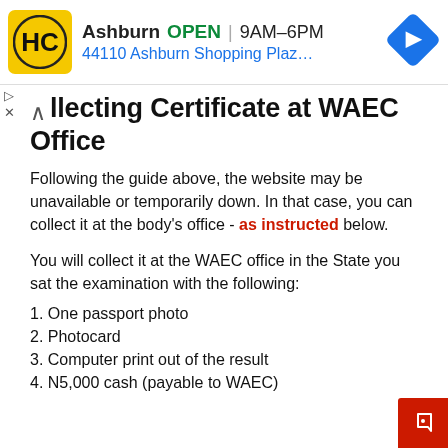[Figure (infographic): Ad banner showing HC logo, Ashburn OPEN 9AM-6PM, address 44110 Ashburn Shopping Plaza 190, A..., with a blue navigation arrow icon on the right]
...llecting Certificate at WAEC Office
Following the guide above, the website may be unavailable or temporarily down. In that case, you can collect it at the body's office - as instructed below.
You will collect it at the WAEC office in the State you sat the examination with the following:
1. One passport photo
2. Photocard
3. Computer print out of the result
4. N5,000 cash (payable to WAEC)